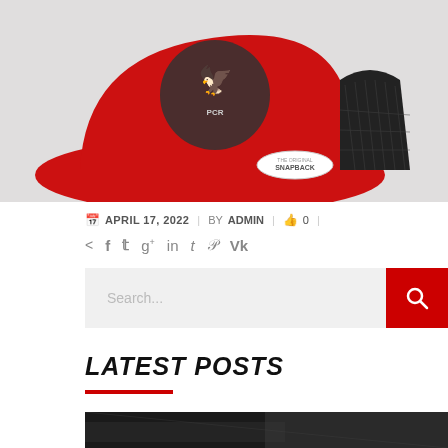[Figure (photo): Red and black snapback trucker hat with metallic eagle embroidered patch on a light gray background. The hat has a flat brim and mesh back.]
📅 APRIL 17, 2022  |  BY ADMIN  |  👍 0  |
< f 𝕏 g+ in t 𝒫 Vk
Search...
LATEST POSTS
[Figure (photo): Partial bottom image showing a dark scene, likely a car or outdoor photo.]